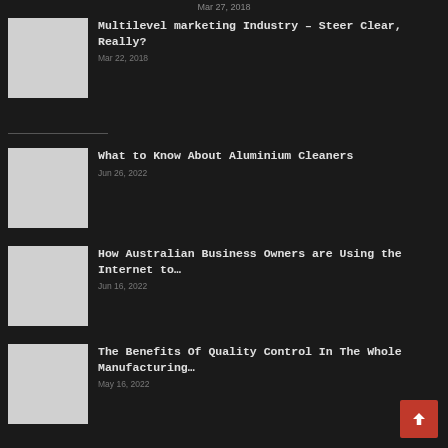Mar 27, 2018
Multilevel marketing Industry – Steer Clear, Really?
Mar 22, 2018
What to Know About Aluminium Cleaners
Jun 26, 2022
How Australian Business Owners are Using the Internet to…
Jun 16, 2022
The Benefits Of Quality Control In The Whole Manufacturing…
May 16, 2022